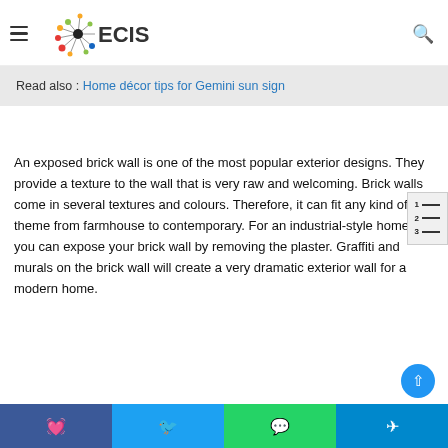ECIS
Read also : Home décor tips for Gemini sun sign
An exposed brick wall is one of the most popular exterior designs. They provide a texture to the wall that is very raw and welcoming. Brick walls come in several textures and colours. Therefore, it can fit any kind of theme from farmhouse to contemporary. For an industrial-style home, you can expose your brick wall by removing the plaster. Graffiti and murals on the brick wall will create a very dramatic exterior wall for a modern home.
Facebook Twitter WhatsApp Telegram